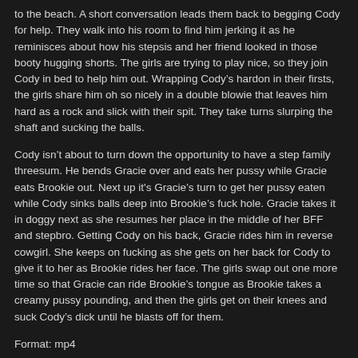to the beach. A short conversation leads them back to begging Cody for help. They walk into his room to find him jerking it as he reminisces about how his stepsis and her friend looked in those booty hugging shorts. The girls are trying to play nice, so they join Cody in bed to help him out. Wrapping Cody's hardon in their firsts, the girls share him oh so nicely in a double blowie that leaves him hard as a rock and slick with their spit. They take turns slurping the shaft and sucking the balls.
Cody isn't about to turn down the opportunity to have a step family threesum. He bends Gracie over and eats her pussy while Gracie eats Brookie out. Next up it's Gracie's turn to get her pussy eaten while Cody sinks balls deep into Brookie's fuck hole. Gracie takes it in doggy next as she resumes her place in the middle of her BFF and stepbro. Getting Cody on his back, Gracie rides him in reverse cowgirl. She keeps on fucking as she gets on her back for Cody to give it to her as Brookie rides her face. The girls swap out one more time so that Gracie can ride Brookie's tongue as Brookie takes a creamy pussy pounding, and then the girls get on their knees and suck Cody's dick until he blasts off for them.
Format: mp4
Resolution: 1920 x 1080
Duration: 00:36:26